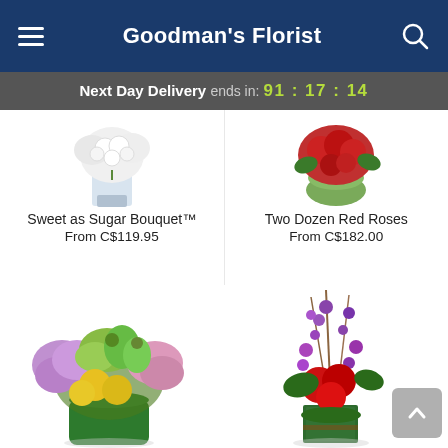Goodman's Florist
Next Day Delivery ends in: 91:17:14
[Figure (photo): Partial top view of Sweet as Sugar Bouquet in a clear glass vase with white flowers]
Sweet as Sugar Bouquet™
From C$119.95
[Figure (photo): Partial top view of Two Dozen Red Roses in a round glass vase]
Two Dozen Red Roses
From C$182.00
[Figure (photo): Full arrangement of mixed bouquet with yellow roses, green hydrangeas, lavender flowers in a green glass cylinder vase]
[Figure (photo): Tall floral arrangement with red roses, purple orchids, and tall stems in a square green glass vase]